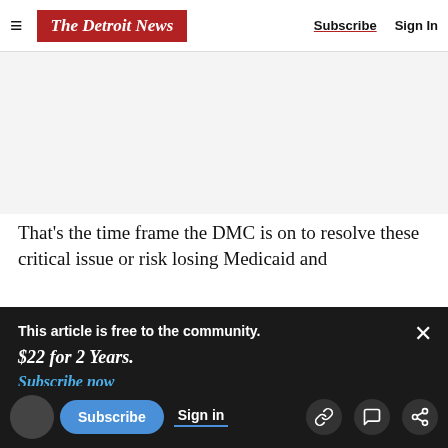The Detroit News — Subscribe | Sign In
[Figure (other): Advertisement placeholder area (gray box)]
That's the time frame the DMC is on to resolve these critical issue or risk losing Medicaid and
This article is free to the community. $22 for 2 Years. Subscribe now
In reality, the only way the deadline can be met is
sustainable solution and settle instead for short-
Subscribe | Sign in